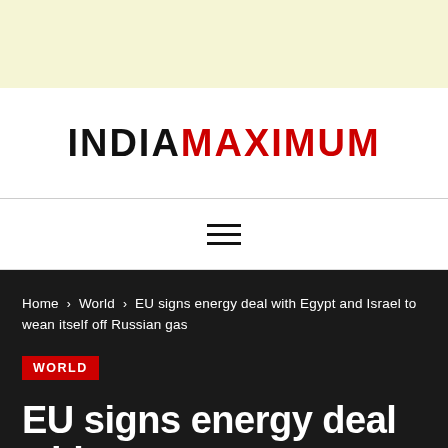[Figure (other): Light yellow advertisement banner at top of page]
INDIAMAXIMUM
[Figure (other): Hamburger menu icon (three horizontal lines)]
Home > World > EU signs energy deal with Egypt and Israel to wean itself off Russian gas
WORLD
EU signs energy deal with Egypt and Israel to wean